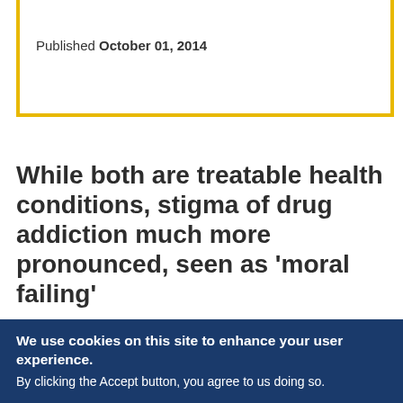Published October 01, 2014
While both are treatable health conditions, stigma of drug addiction much more pronounced, seen as 'moral failing'
People are significantly more likely to have
We use cookies on this site to enhance your user experience. By clicking the Accept button, you agree to us doing so.